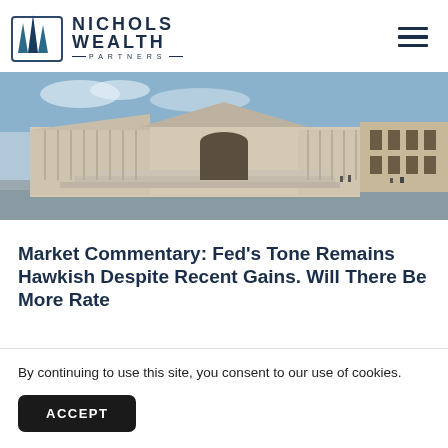[Figure (logo): Nichols Wealth Partners logo with stylized building/spires icon and text]
[Figure (photo): Wide panoramic photo of the US Capitol building exterior with steps and plaza]
Market Commentary: Fed's Tone Remains Hawkish Despite Recent Gains. Will There Be More Rate
By continuing to use this site, you consent to our use of cookies.
ACCEPT